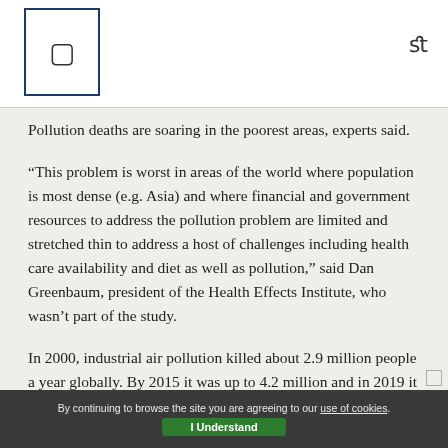Pollution deaths are soaring in the poorest areas, experts said.
“This problem is worst in areas of the world where population is most dense (e.g. Asia) and where financial and government resources to address the pollution problem are limited and stretched thin to address a host of challenges including health care availability and diet as well as pollution,” said Dan Greenbaum, president of the Health Effects Institute, who wasn’t part of the study.
In 2000, industrial air pollution killed about 2.9 million people a year globally. By 2015 it was up to 4.2 million and in 2019 it was 4.5 million, the study said. Toss in household air pollution and effects from traffic emissions and
By continuing to browse the site you are agreeing to our use of cookies. I Understand